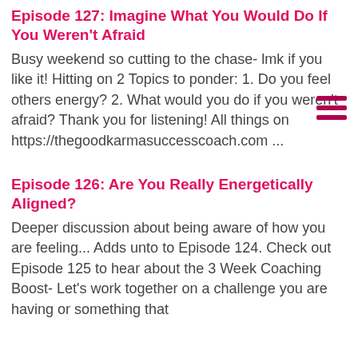Episode 127: Imagine What You Would Do If You Weren't Afraid
Busy weekend so cutting to the chase- lmk if you like it! Hitting on 2 Topics to ponder: 1. Do you feel others energy? 2. What would you do if you weren't afraid?   Thank you for listening! All things on https://thegoodkarmasuccesscoach.com    ...
Episode 126: Are You Really Energetically Aligned?
Deeper discussion about being aware of how you are feeling... Adds unto to Episode 124. Check out Episode 125 to hear about the 3 Week Coaching Boost- Let's work together on a challenge you are having or something that